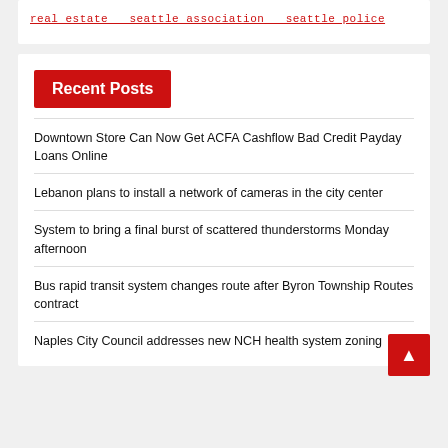real estate  seattle association  seattle police
Recent Posts
Downtown Store Can Now Get ACFA Cashflow Bad Credit Payday Loans Online
Lebanon plans to install a network of cameras in the city center
System to bring a final burst of scattered thunderstorms Monday afternoon
Bus rapid transit system changes route after Byron Township Routes contract
Naples City Council addresses new NCH health system zoning